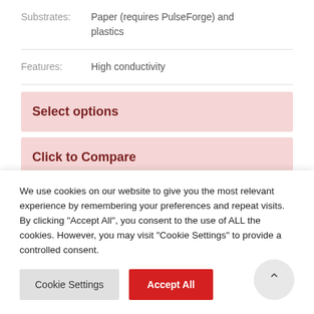Substrates: Paper (requires PulseForge) and plastics
Features: High conductivity
Select options
Click to Compare
We use cookies on our website to give you the most relevant experience by remembering your preferences and repeat visits. By clicking "Accept All", you consent to the use of ALL the cookies. However, you may visit "Cookie Settings" to provide a controlled consent.
Cookie Settings
Accept All